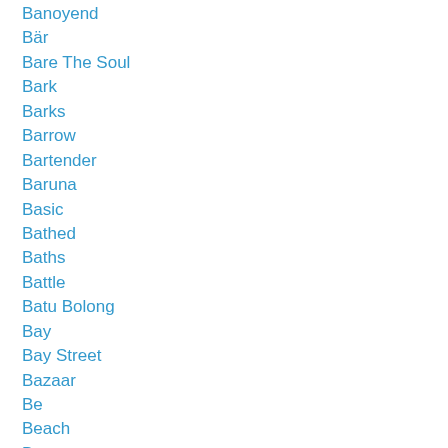Banoyend
Bär
Bare The Soul
Bark
Barks
Barrow
Bartender
Baruna
Basic
Bathed
Baths
Battle
Batu Bolong
Bay
Bay Street
Bazaar
Be
Beach
Bean
Bear